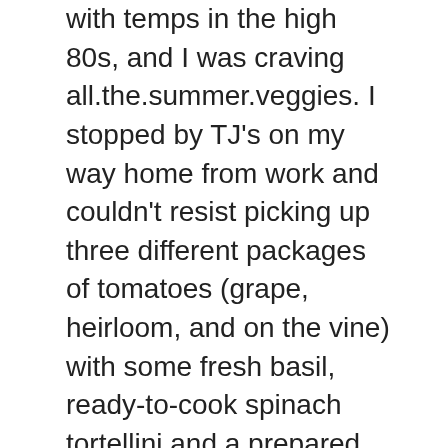with temps in the high 80s, and I was craving all.the.summer.veggies. I stopped by TJ's on my way home from work and couldn't resist picking up three different packages of tomatoes (grape, heirloom, and on the vine) with some fresh basil, ready-to-cook spinach tortellini and a prepared olive tapenade for this incredibly easy tortellini salad.
You could have made the tapenade on your own, or grown your own basil plant, or heck- made your own pasta… but no one got time for that! It was so simple to dice a few tomatoes and basil, throw the cooked tortellini and tapenade in, and squirt a little balsamic and lemon juice on top! Summer was practically licking my ankles (oh wait, that was Fomo).